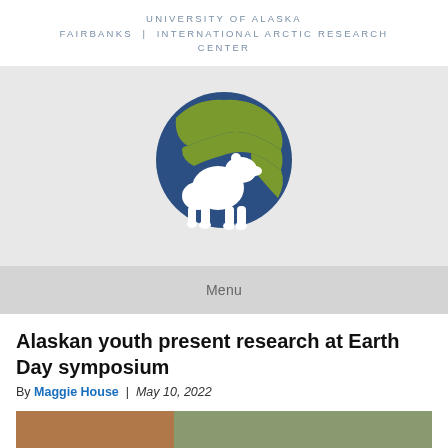UNIVERSITY OF ALASKA FAIRBANKS | INTERNATIONAL ARCTIC RESEARCH CENTER
[Figure (logo): IARC globe logo with polar bear silhouette — globe showing Arctic region in navy blue and olive green, white polar bear silhouette in foreground, on light gray background]
Menu
Alaskan youth present research at Earth Day symposium
By Maggie House | May 10, 2022
[Figure (photo): Thumbnail strip showing partial photos at the bottom of the page]